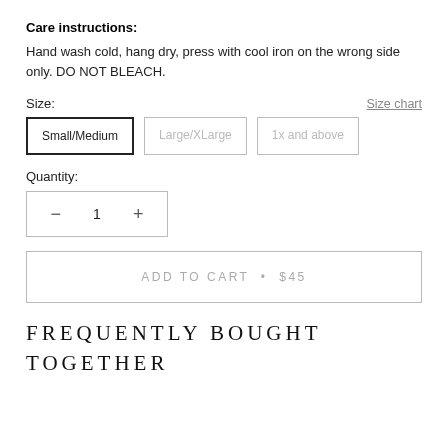Care instructions:
Hand wash cold, hang dry, press with cool iron on the wrong side only. DO NOT BLEACH.
Size:
Size chart
Small/Medium | Large/XLarge | 1x and above
Quantity:
− 1 +
ADD TO CART • $45
FREQUENTLY BOUGHT TOGETHER